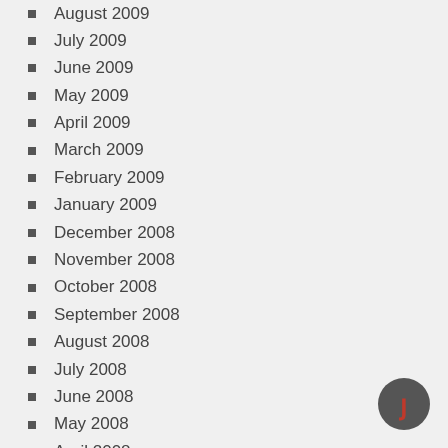August 2009
July 2009
June 2009
May 2009
April 2009
March 2009
February 2009
January 2009
December 2008
November 2008
October 2008
September 2008
August 2008
July 2008
June 2008
May 2008
April 2008
March 2008
February 2008